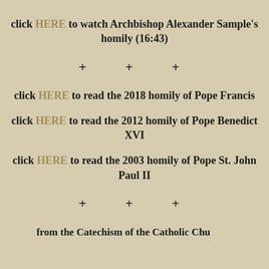click HERE to watch Archbishop Alexander Sample's homily (16:43)
+ + +
click HERE to read the 2018 homily of Pope Francis
click HERE to read the 2012 homily of Pope Benedict XVI
click HERE to read the 2003 homily of Pope St. John Paul II
+ + +
from the Catechism of the Catholic Church...